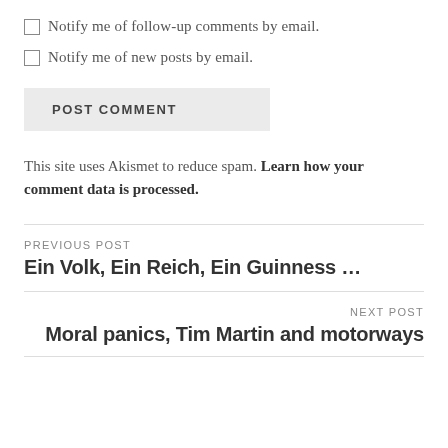Notify me of follow-up comments by email.
Notify me of new posts by email.
POST COMMENT
This site uses Akismet to reduce spam. Learn how your comment data is processed.
PREVIOUS POST
Ein Volk, Ein Reich, Ein Guinness …
NEXT POST
Moral panics, Tim Martin and motorways